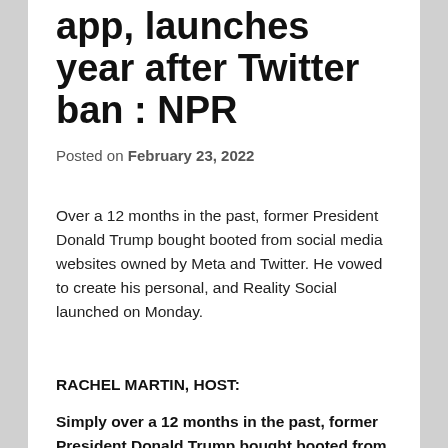app, launches year after Twitter ban : NPR
Posted on February 23, 2022
Over a 12 months in the past, former President Donald Trump bought booted from social media websites owned by Meta and Twitter. He vowed to create his personal, and Reality Social launched on Monday.
RACHEL MARTIN, HOST:
Simply over a 12 months in the past, former President Donald Trump bought booted from social media websites, together with YouTube, Fb and Twitter. He then vowed to create his personal platform. He calls it Reality Social. And it launched yesterday. I talked